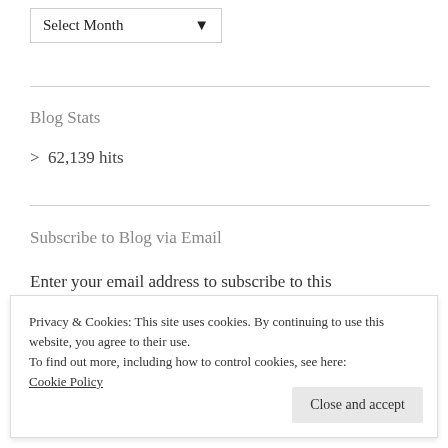Select Month ▼
Blog Stats
> 62,139 hits
Subscribe to Blog via Email
Enter your email address to subscribe to this
Privacy & Cookies: This site uses cookies. By continuing to use this website, you agree to their use.
To find out more, including how to control cookies, see here:
Cookie Policy
Close and accept